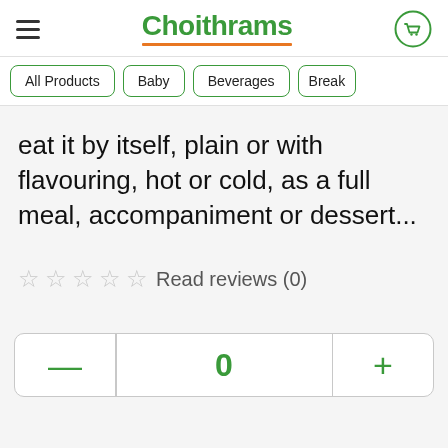Choithrams
All Products
Baby
Beverages
Break
eat it by itself, plain or with flavouring, hot or cold, as a full meal, accompaniment or dessert...
☆☆☆☆☆ Read reviews (0)
— 0 +